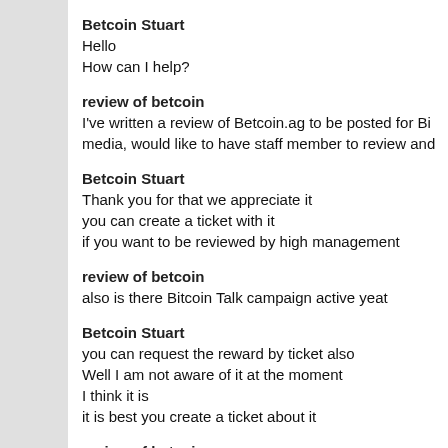Betcoin Stuart
Hello
How can I help?
review of betcoin
I've written a review of Betcoin.ag to be posted for Bi media, would like to have staff member to review and
Betcoin Stuart
Thank you for that we appreciate it
you can create a ticket with it
if you want to be reviewed by high management
review of betcoin
also is there Bitcoin Talk campaign active yeat
Betcoin Stuart
you can request the reward by ticket also
Well I am not aware of it at the moment
I think it is
it is best you create a ticket about it
review of betcoin
so you are not able to check and comment it now?
why is creating ticket necessary?